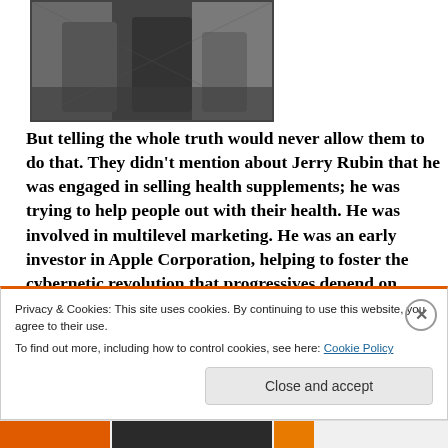[Figure (photo): Black and white photo showing people from waist down walking on a street]
But telling the whole truth would never allow them to do that. They didn't mention about Jerry Rubin that he was engaged in selling health supplements; he was trying to help people out with their health. He was involved in multilevel marketing. He was an early investor in Apple Corporation, helping to foster the cybernetic revolution that progressives depend on today and which has strengthened our movement
Privacy & Cookies: This site uses cookies. By continuing to use this website, you agree to their use.
To find out more, including how to control cookies, see here: Cookie Policy
Close and accept